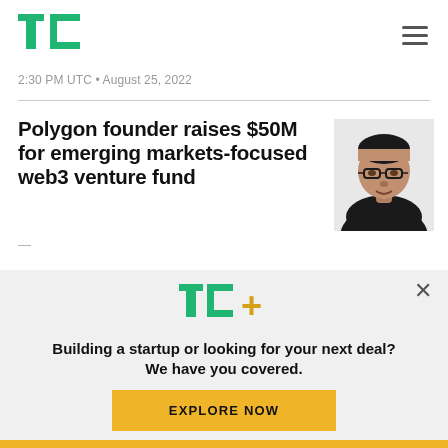TechCrunch
2:30 PM UTC • August 25, 2022
Polygon founder raises $50M for emerging markets-focused web3 venture fund
[Figure (photo): Black and white headshot of a man wearing glasses and a black t-shirt, arms crossed]
Building a startup or looking for your next deal? We have you covered.
EXPLORE NOW